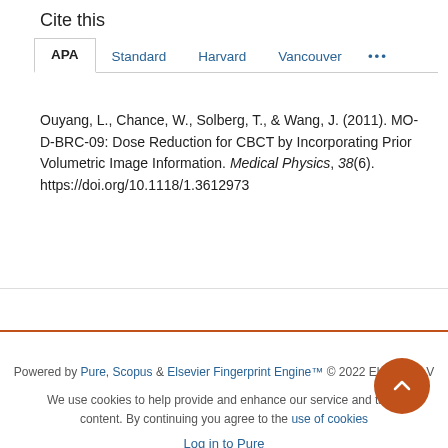Cite this
APA  Standard  Harvard  Vancouver  ...
Ouyang, L., Chance, W., Solberg, T., & Wang, J. (2011). MO-D-BRC-09: Dose Reduction for CBCT by Incorporating Prior Volumetric Image Information. Medical Physics, 38(6). https://doi.org/10.1118/1.3612973
Powered by Pure, Scopus & Elsevier Fingerprint Engine™ © 2022 Elsevier B.V
We use cookies to help provide and enhance our service and tailor content. By continuing you agree to the use of cookies
Log in to Pure
About web accessibility